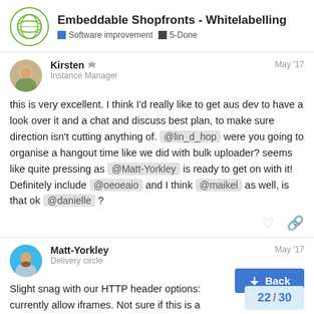Embeddable Shopfronts - Whitelabelling | Software improvement | 5-Done
Kirsten — Instance Manager — May '17
this is very excellent. I think I'd really like to get aus dev to have a look over it and a chat and discuss best plan, to make sure direction isn't cutting anything of. @lin_d_hop were you going to organise a hangout time like we did with bulk uploader? seems like quite pressing as @Matt-Yorkley is ready to get on with it! Definitely include @oeoeaio and I think @maikel as well, is that ok @danielle ?
Matt-Yorkley — Delivery circle — May '17
Slight snag with our HTTP header options: currently allow iframes. Not sure if this is a